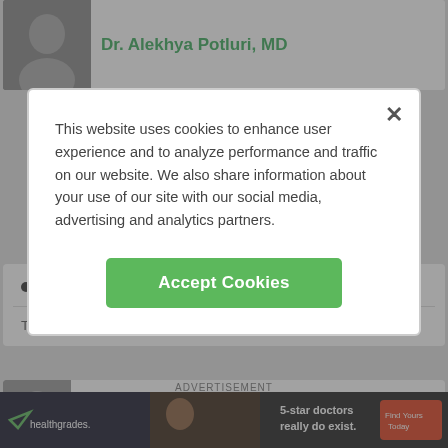[Figure (screenshot): Screenshot of a medical provider directory website showing a cookie consent modal dialog overlay on top of a doctor listing page. The modal has an X close button, cookie policy text, and a green Accept Cookies button. Below the modal the page shows a bullet point listing 'Accepts 9 insurance carriers', a staff line about Einstein Health Network, and a second doctor listing for Dr. Sumeet Mainigi MD with a photo, plus a Healthgrades advertisement banner at the bottom.]
This website uses cookies to enhance user experience and to analyze performance and traffic on our website. We also share information about your use of our site with our social media, advertising and analytics partners.
Accept Cookies
Accepts 9 insurance carriers
This provider is on medical staff at Einstein Health Network
Dr. Sumeet Mainigi, MD
ADVERTISEMENT
5-star doctors really do exist.
Find Yours Today